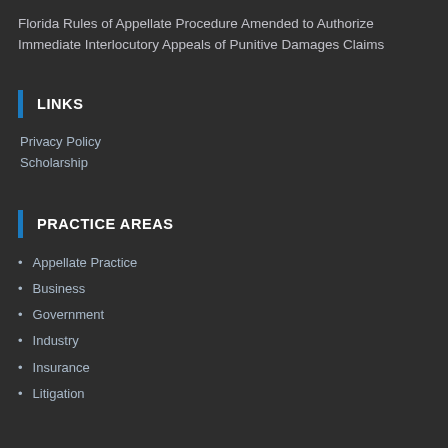Florida Rules of Appellate Procedure Amended to Authorize Immediate Interlocutory Appeals of Punitive Damages Claims
LINKS
Privacy Policy
Scholarship
PRACTICE AREAS
Appellate Practice
Business
Government
Industry
Insurance
Litigation